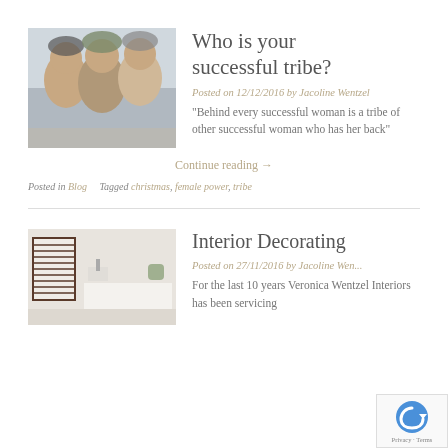[Figure (photo): Three young women smiling and posing together outdoors, wearing hats and casual clothing]
Who is your successful tribe?
Posted on 12/12/2016 by Jacoline Wentzel
“Behind every successful woman is a tribe of other successful woman who has her back”
Continue reading →
Posted in Blog   Tagged christmas, female power, tribe
[Figure (photo): Bright interior room with white furniture and dark wooden window shutters]
Interior Decorating
Posted on 27/11/2016 by Jacoline Wen...
For the last 10 years Veronica Wentzel Interiors has been servicing